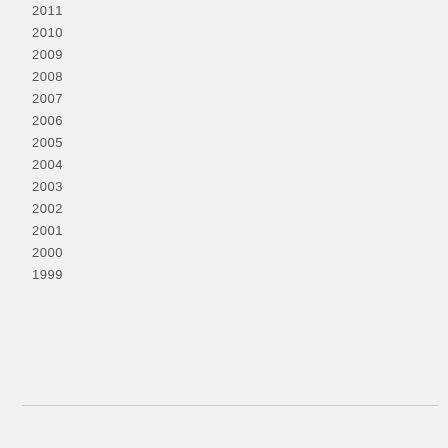2011
2010
2009
2008
2007
2006
2005
2004
2003
2002
2001
2000
1999